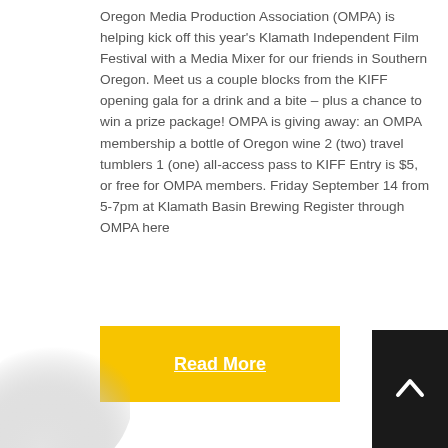Oregon Media Production Association (OMPA) is helping kick off this year's Klamath Independent Film Festival with a Media Mixer for our friends in Southern Oregon. Meet us a couple blocks from the KIFF opening gala for a drink and a bite – plus a chance to win a prize package! OMPA is giving away: an OMPA membership a bottle of Oregon wine 2 (two) travel tumblers 1 (one) all-access pass to KIFF Entry is $5, or free for OMPA members. Friday September 14 from 5-7pm at Klamath Basin Brewing Register through OMPA here
[Figure (other): Yellow 'Read More' button with white underlined text]
[Figure (other): Black scroll-to-top button with white upward arrow, bottom right corner]
[Figure (other): Decorative paper curl graphic in the bottom left corner]